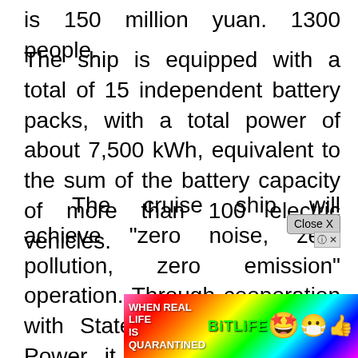is 150 million yuan. 1300 people.
The ship is equipped with a total of 15 independent battery packs, with a total power of about 7,500 kWh, equivalent to the sum of the battery capacity of more than 100 electric vehicles.
The cruise ship will achieve "zero noise, zero pollution, zero emission" operation. Through cooperation with State Grid and Yangtze Power, it will be charged with clean water and electricity. Compared with traditional power ships, it can replace 530 ton of fuel oil and r[armful gases[uild a
[Figure (other): BitLife advertisement banner overlaid on the bottom portion of the page, with rainbow gradient background, text 'WHEN REAL LIFE IS QUARANTINED', BitLife logo, and emoji characters. A 'Close X' button appears at top right of the ad.]